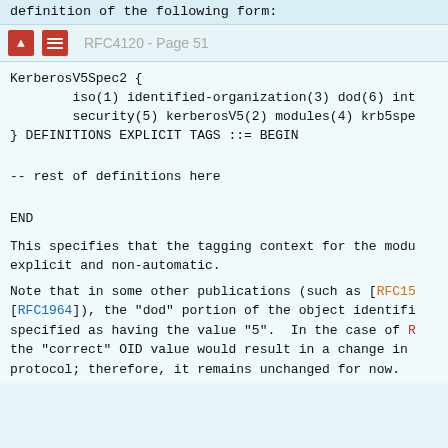definition of the following form:
RFC4120 - Page 51
KerberosV5Spec2 {
        iso(1) identified-organization(3) dod(6) int
        security(5) kerberosV5(2) modules(4) krb5spe
} DEFINITIONS EXPLICIT TAGS ::= BEGIN

-- rest of definitions here

END
This specifies that the tagging context for the modu explicit and non-automatic.
Note that in some other publications (such as [RFC15 [RFC1964]), the "dod" portion of the object identifi specified as having the value "5".  In the case of R the "correct" OID value would result in a change in protocol; therefore, it remains unchanged for now.